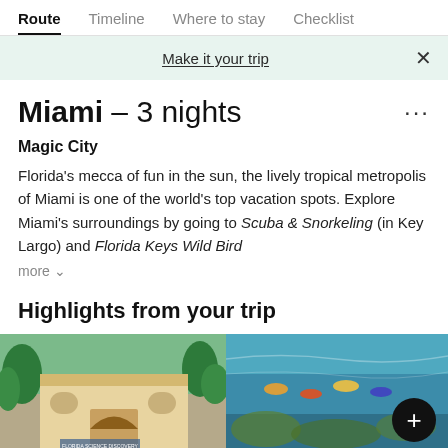Route | Timeline | Where to stay | Checklist
Make it your trip
Miami – 3 nights
Magic City
Florida's mecca of fun in the sun, the lively tropical metropolis of Miami is one of the world's top vacation spots. Explore Miami's surroundings by going to Scuba & Snorkeling (in Key Largo) and Florida Keys Wild Bird
more ∨
Highlights from your trip
[Figure (photo): Exterior of a building, likely a museum or cultural center in Miami area, with arched entrance and trees]
[Figure (photo): Aerial or water-level view of people snorkeling/kayaking in clear turquoise water near a coral reef]